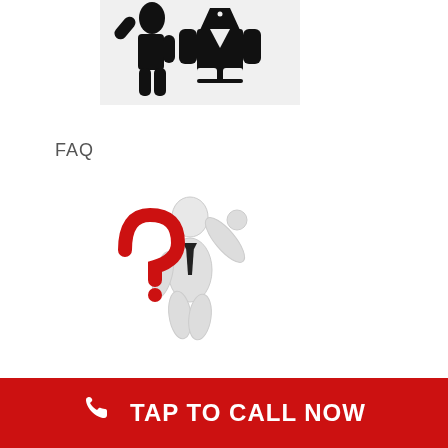[Figure (logo): Black silhouette icon of two people/figures standing side by side, representing a group or team, on a light gray background]
FAQ
[Figure (illustration): 3D white cartoon businessman figure holding up one arm, with a large red question mark in front of him, on white background]
INSURANCE
[Figure (photo): Partial view of an insurance-related image, blue toned]
TAP TO CALL NOW